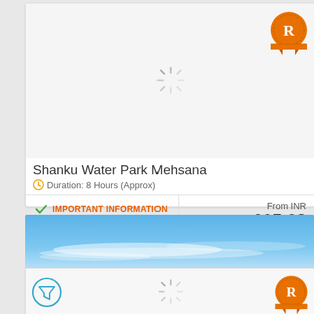[Figure (screenshot): Loading spinner in card image area]
[Figure (illustration): Orange award badge with R letter]
Shanku Water Park Mehsana
Duration: 8 Hours (Approx)
IMPORTANT INFORMATION
NON REFUNDABLE
From INR
605.03
BOOK NOW
[Figure (photo): Blue sky with white clouds banner image]
[Figure (screenshot): Second card loading spinner]
[Figure (illustration): Second orange award badge with R letter]
[Figure (illustration): Filter funnel icon in circle]